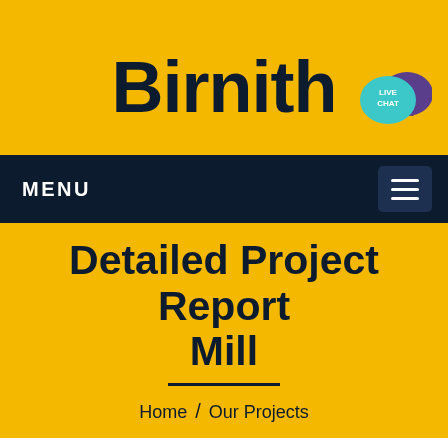Birnith
[Figure (illustration): Live chat speech bubble icon in teal with purple overlapping bubble, positioned in top-right of header]
MENU
Detailed Project Report Mill
Home / Our Projects